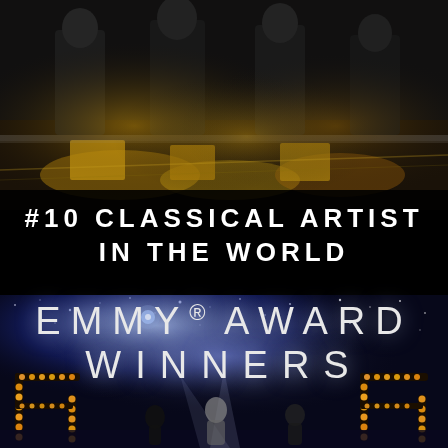[Figure (photo): Black and white photo showing performers on a stage, figures in dark clothing standing at a stage edge with gold/yellow decorative elements visible below]
#10 CLASSICAL ARTIST IN THE WORLD
[Figure (photo): Concert stage photo with starry night background, large illuminated letter props spelling out letters with warm bulb lights, performers visible on stage with spotlight beams]
EMMY® AWARD WINNERS